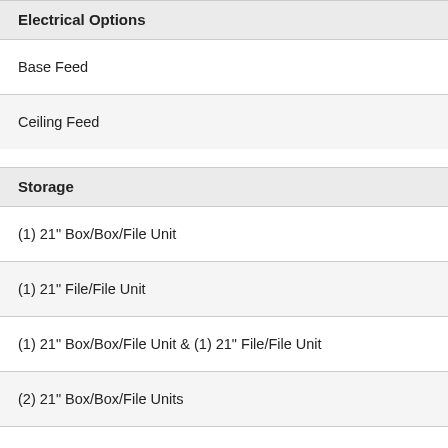Electrical Options
Base Feed
Ceiling Feed
Storage
(1) 21" Box/Box/File Unit
(1) 21" File/File Unit
(1) 21" Box/Box/File Unit & (1) 21" File/File Unit
(2) 21" Box/Box/File Units
(2) 21" File/File Units